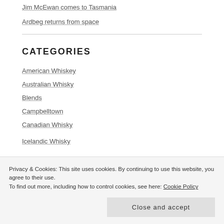Jim McEwan comes to Tasmania
Ardbeg returns from space
CATEGORIES
American Whiskey
Australian Whisky
Blends
Campbelltown
Canadian Whisky
Icelandic Whisky
Privacy & Cookies: This site uses cookies. By continuing to use this website, you agree to their use.
To find out more, including how to control cookies, see here: Cookie Policy
Close and accept